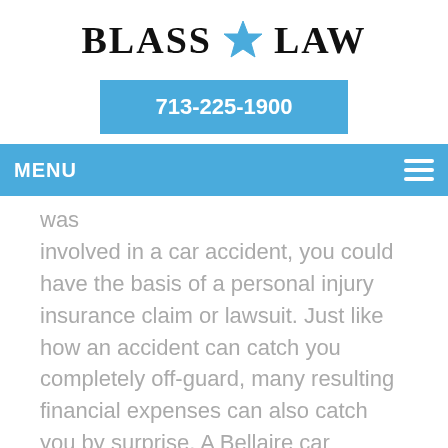[Figure (logo): Blass Law logo with star icon between text]
713-225-1900
MENU
was involved in a car accident, you could have the basis of a personal injury insurance claim or lawsuit. Just like how an accident can catch you completely off-guard, many resulting financial expenses can also catch you by surprise. A Bellaire car accident lawyer can provide an array of beneficial services that are designed to promote your case's success.